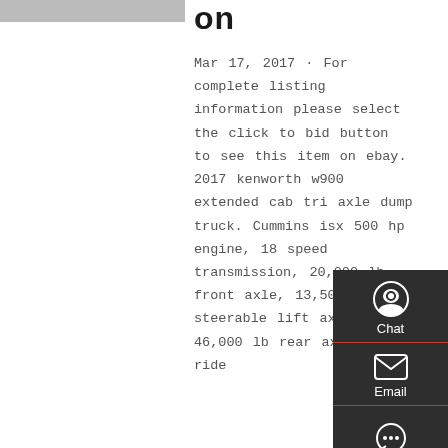[Figure (photo): Partial image of a truck, cropped at top-left]
on
Mar 17, 2017 · For complete listing information please select the click to bid button to see this item on ebay. 2017 kenworth w900 extended cab tri axle dump truck. Cummins isx 500 hp engine, 18 speed transmission, 20,000 lb front axle, 13,500 lb steerable lift axle, 46,000 lb rear axle, air ride